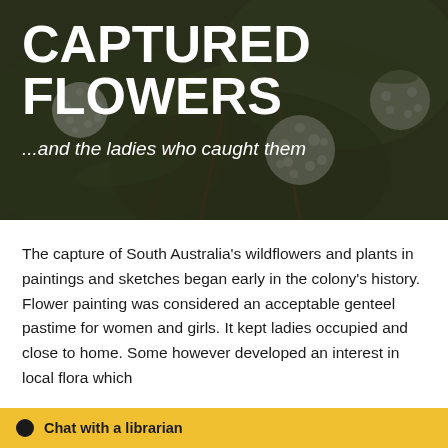[Figure (photo): Background photo of white fluffy Australian wildflowers (eucalyptus blossoms) with green leaves, overlaid with dark semi-transparent layer]
CAPTURED FLOWERS
...and the ladies who caught them
The capture of South Australia's wildflowers and plants in paintings and sketches began early in the colony's history. Flower painting was considered an acceptable genteel pastime for women and girls. It kept ladies occupied and close to home. Some however developed an interest in local flora which
Chat with a librarian